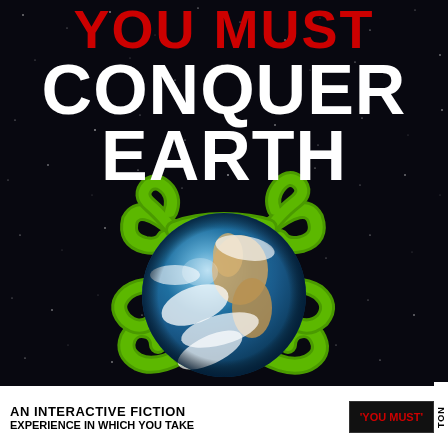[Figure (illustration): Book cover with black starfield background, green alien tentacle creature wrapped around a realistic photograph of Earth (the Blue Marble). The title 'YOU MUST CONQUER EARTH' appears at the top in bold typography — 'YOU MUST' in red and 'CONQUER EARTH' in white. At the bottom is a white bar with subtitle text and a badge.]
YOU MUST CONQUER EARTH
AN INTERACTIVE FICTION EXPERIENCE IN WHICH YOU TAKE
'YOU MUST'